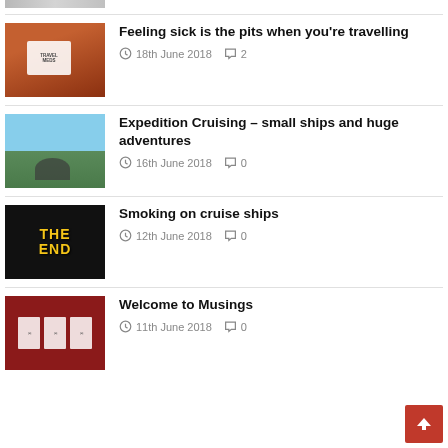[Figure (photo): Partial top image, cropped travel photo]
Feeling sick is the pits when you're travelling — 18th June 2018, 2 comments
Expedition Cruising – small ships and huge adventures — 16th June 2018, 0 comments
Smoking on cruise ships — 12th June 2018, 0 comments
Welcome to Musings — 11th June 2018, 0 comments